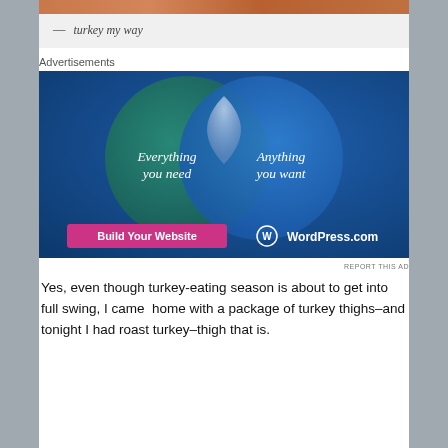[Figure (photo): Top portion of a food photo, cropped at top of page]
— turkey my way
Advertisements
[Figure (infographic): WordPress.com advertisement featuring a Venn diagram with two overlapping circles. Left circle (teal/green): 'Everything you need'. Right circle (blue): 'Anything you want'. Overlap is a light bluish-white lens shape. Bottom left has a pink button 'Build Your Website'. Bottom right shows WordPress.com logo and text.]
REPORT THIS AD
Yes, even though turkey-eating season is about to get into full swing, I came  home with a package of turkey thighs–and tonight I had roast turkey–thigh that is.